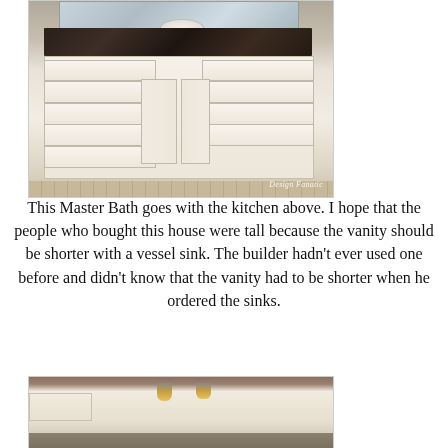[Figure (photo): Bathroom vanity with white cabinets, dark granite countertop, vessel sink, and mirror. Watermark reads 'Design Fanatic'.]
This Master Bath goes with the kitchen above. I hope that the people who bought this house were tall because the vanity should be shorter with a vessel sink. The builder hadn't ever used one before and didn't know that the vanity had to be shorter when he ordered the sinks.
[Figure (photo): Kitchen with white/cream cabinets, pendant lights hanging from ceiling, and dark countertops.]